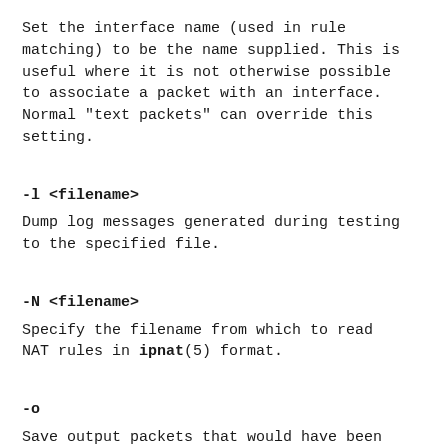Set the interface name (used in rule matching) to be the name supplied. This is useful where it is not otherwise possible to associate a packet with an interface. Normal "text packets" can override this setting.
-l <filename>
Dump log messages generated during testing to the specified file.
-N <filename>
Specify the filename from which to read NAT rules in ipnat(5) format.
-o
Save output packets that would have been written to each interface in a file /tmp/ interface_name in pcap format.